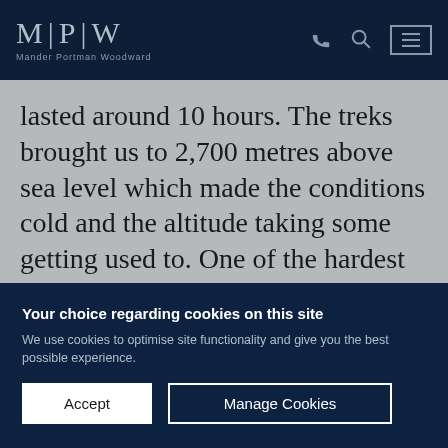MPW — Mander Portman Woodward
lasted around 10 hours. The treks brought us to 2,700 metres above sea level which made the conditions cold and the altitude taking some getting used to. One of the hardest aspects of the trek phase was having to set up camp for a night and then pack it all up and carry it for the next trek
Your choice regarding cookies on this site
We use cookies to optimise site functionality and give you the best possible experience.
Accept | Manage Cookies